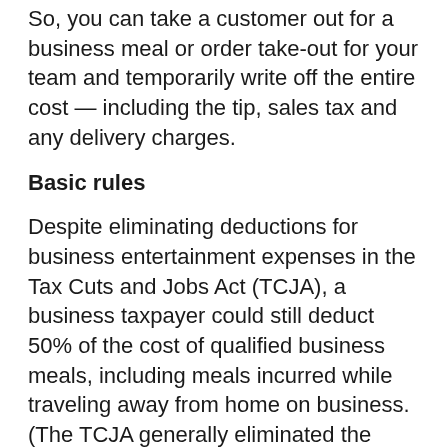So, you can take a customer out for a business meal or order take-out for your team and temporarily write off the entire cost — including the tip, sales tax and any delivery charges.
Basic rules
Despite eliminating deductions for business entertainment expenses in the Tax Cuts and Jobs Act (TCJA), a business taxpayer could still deduct 50% of the cost of qualified business meals, including meals incurred while traveling away from home on business. (The TCJA generally eliminated the 50% deduction for business entertainment expenses incurred after 2017 on a permanent basis.)
To help struggling restaurants during the